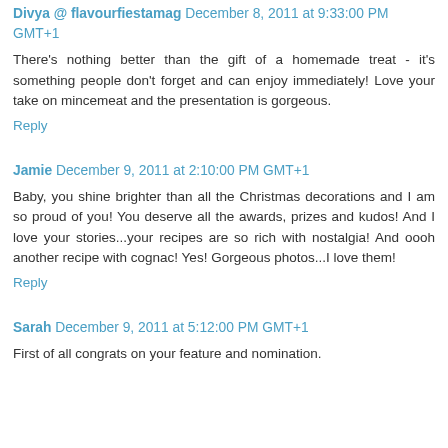Divya @ flavourfiestamag December 8, 2011 at 9:33:00 PM GMT+1
There's nothing better than the gift of a homemade treat - it's something people don't forget and can enjoy immediately! Love your take on mincemeat and the presentation is gorgeous.
Reply
Jamie December 9, 2011 at 2:10:00 PM GMT+1
Baby, you shine brighter than all the Christmas decorations and I am so proud of you! You deserve all the awards, prizes and kudos! And I love your stories...your recipes are so rich with nostalgia! And oooh another recipe with cognac! Yes! Gorgeous photos...I love them!
Reply
Sarah December 9, 2011 at 5:12:00 PM GMT+1
First of all congrats on your feature and nomination.